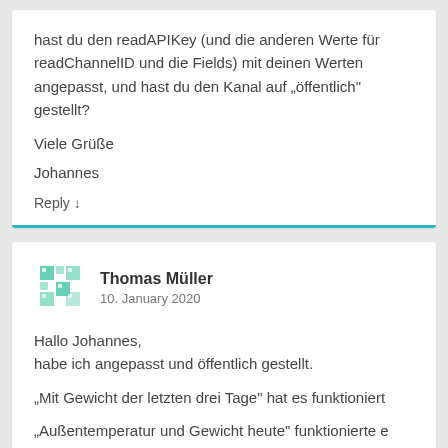hast du den readAPIKey (und die anderen Werte für readChannelID und die Fields) mit deinen Werten angepasst, und hast du den Kanal auf „öffentlich“ gestellt?
Viele Grüße
Johannes
Reply ↓
Thomas Müller
10. January 2020
Hallo Johannes,
habe ich angepasst und öffentlich gestellt.
„Mit Gewicht der letzten drei Tage“ hat es funktioniert
„Außentemperatur und Gewicht heute“ funktionierte e
auch nicht.